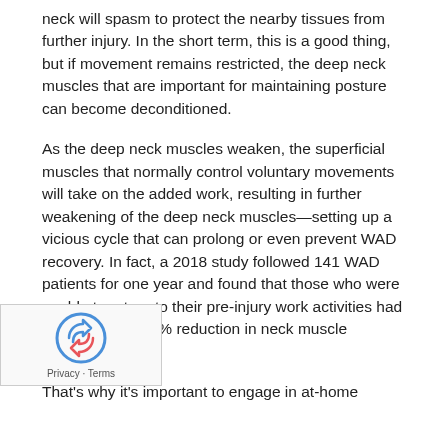neck will spasm to protect the nearby tissues from further injury. In the short term, this is a good thing, but if movement remains restricted, the deep neck muscles that are important for maintaining posture can become deconditioned.
As the deep neck muscles weaken, the superficial muscles that normally control voluntary movements will take on the added work, resulting in further weakening of the deep neck muscles—setting up a vicious cycle that can prolong or even prevent WAD recovery. In fact, a 2018 study followed 141 WAD patients for one year and found that those who were unable to return to their pre-injury work activities had an average of 50% reduction in neck muscle strength.
That's why it's important to engage in at-home